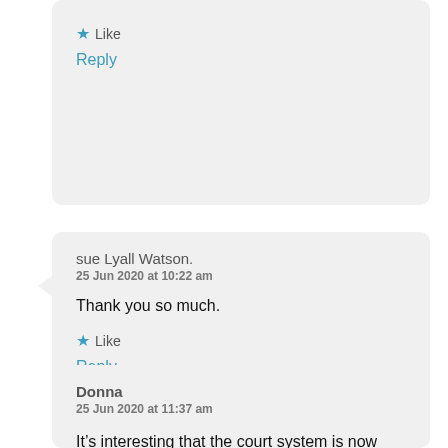Like
Reply
sue Lyall Watson.
25 Jun 2020 at 10:22 am
Thank you so much.
Like
Reply
Donna
25 Jun 2020 at 11:37 am
It’s interesting that the court system is now finally beginning to accept